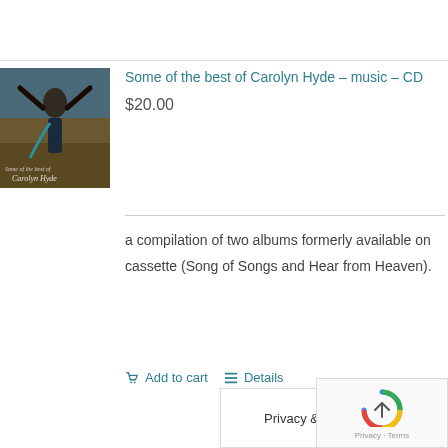[Figure (photo): Album cover for Carolyn Hyde - showing a woman with arms raised against a rustic background with the text 'Some of the best of Carolyn Hyde']
Some of the best of Carolyn Hyde – music – CD
$20.00
a compilation of two albums formerly available on cassette (Song of Songs and Hear from Heaven).
Add to cart   Details
Privacy & Cookies Policy